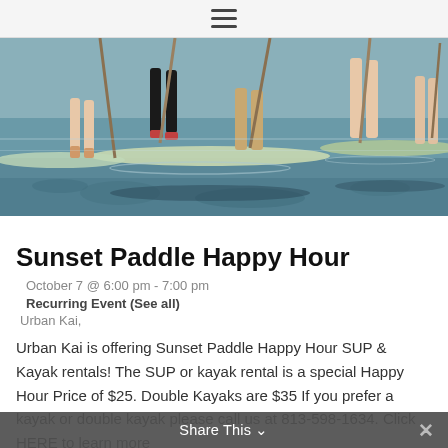≡ (hamburger menu)
[Figure (photo): Outdoor photo of multiple people standing on paddleboards (SUP) on calm water, viewed from behind/side, with paddles in hand. The boards are light green/white. Water reflections are visible.]
Sunset Paddle Happy Hour
October 7 @ 6:00 pm - 7:00 pm
Recurring Event (See all)
Urban Kai,
Urban Kai is offering Sunset Paddle Happy Hour SUP & Kayak rentals! The SUP or kayak rental is a special Happy Hour Price of $25. Double Kayaks are $35 If you prefer a kayak or double kayak please call us at 813-598-1634. Click HERE to learn more
Share This ∨  ×